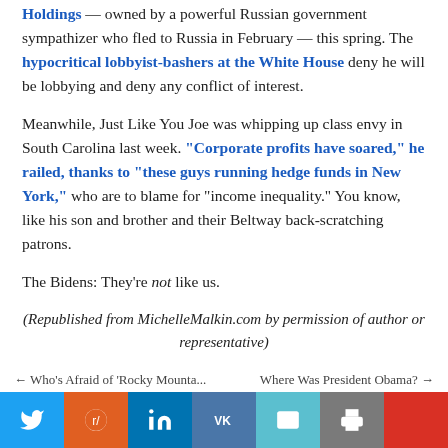Holdings — owned by a powerful Russian government sympathizer who fled to Russia in February — this spring. The hypocritical lobbyist-bashers at the White House deny he will be lobbying and deny any conflict of interest.
Meanwhile, Just Like You Joe was whipping up class envy in South Carolina last week. "Corporate profits have soared," he railed, thanks to "these guys running hedge funds in New York," who are to blame for "income inequality." You know, like his son and brother and their Beltway back-scratching patrons.
The Bidens: They're not like us.
(Republished from MichelleMalkin.com by permission of author or representative)
← Who's Afraid of 'Rocky Mounta...    Where Was President Obama? →